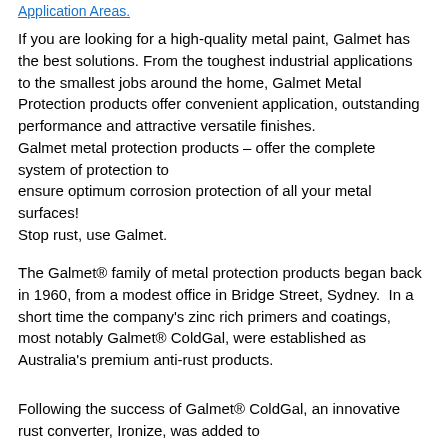Application areas.
If you are looking for a high-quality metal paint, Galmet has the best solutions. From the toughest industrial applications to the smallest jobs around the home, Galmet Metal Protection products offer convenient application, outstanding performance and attractive versatile finishes.
Galmet metal protection products – offer the complete system of protection to ensure optimum corrosion protection of all your metal surfaces!
Stop rust, use Galmet.
The Galmet® family of metal protection products began back in 1960, from a modest office in Bridge Street, Sydney. In a short time the company's zinc rich primers and coatings, most notably Galmet® ColdGal, were established as Australia's premium anti-rust products.
Following the success of Galmet® ColdGal, an innovative rust converter, Ironize, was added to